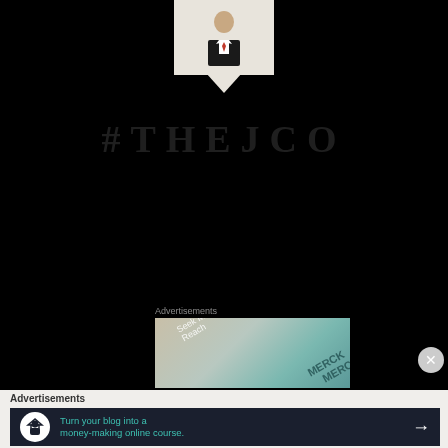[Figure (illustration): Person in suit avatar icon inside a white speech-bubble card pointing downward, on black background]
#THEJCO
Advertisements
[Figure (photo): Partial view of Merck branded packaging/material with diagonal stripes in beige and teal colors]
Advertisements
[Figure (infographic): Dark navy advertisement banner: Turn your blog into a money-making online course. With house/person icon and arrow]